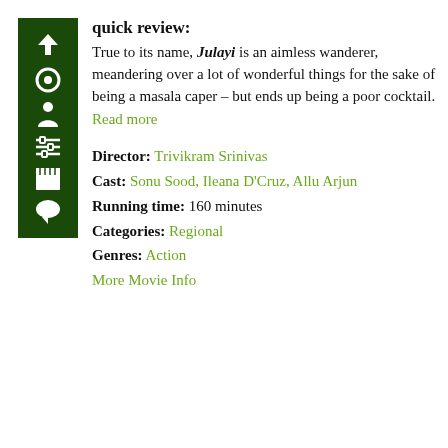[Figure (illustration): Dark green vertical sidebar with white icons: up arrow, circle/target, person/user, sliders/settings, clapperboard/film, speech bubble]
quick review:
True to its name, Julayi is an aimless wanderer, meandering over a lot of wonderful things for the sake of being a masala caper – but ends up being a poor cocktail.
Read more
Director: Trivikram Srinivas
Cast: Sonu Sood, Ileana D'Cruz, Allu Arjun
Running time: 160 minutes
Categories: Regional
Genres: Action
More Movie Info